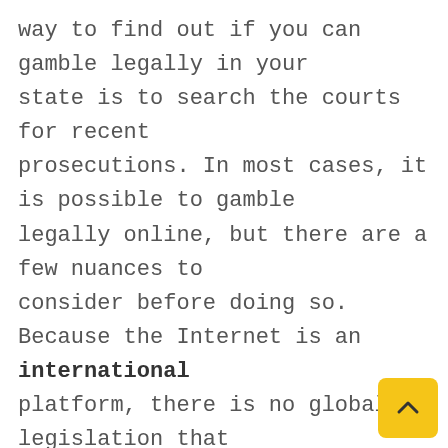way to find out if you can gamble legally in your state is to search the courts for recent prosecutions. In most cases, it is possible to gamble legally online, but there are a few nuances to consider before doing so. Because the Internet is an international platform, there is no global legislation that regulates the activity. Instead, each country has its own laws regarding gambling, which can vary greatly from region to region. In addition, the laws can also change quite frequently, so it is a good idea know the latest laws before you sign up to